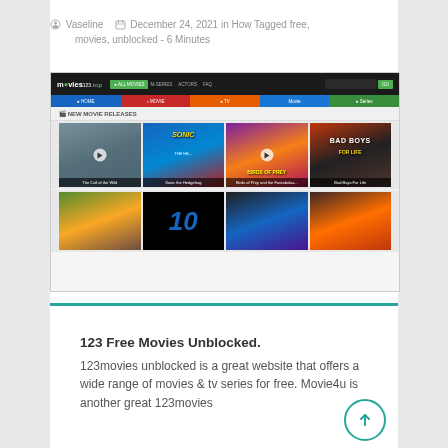Vaseline   December 24, 2021 in How Tagged free, movies, unblocked - 6 Minutes
[Figure (screenshot): Screenshot of movies123.top website showing a movie streaming site with navbar, category tabs, and movie poster grid including Sonic the Hedgehog, The Call of the Wild, Birds of Prey, Bad Boys for Life, and other movies]
123 Free Movies Unblocked. 123movies unblocked is a great website that offers a wide range of movies & tv series for free. Movie4u is another great 123movies